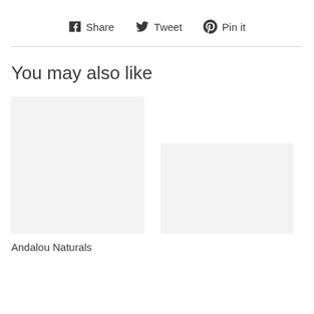Share  Tweet  Pin it
You may also like
[Figure (photo): Product image placeholder (light gray rectangle, left column)]
[Figure (photo): Product image placeholder (light gray rectangle, right column, partially visible)]
Andalou Naturals